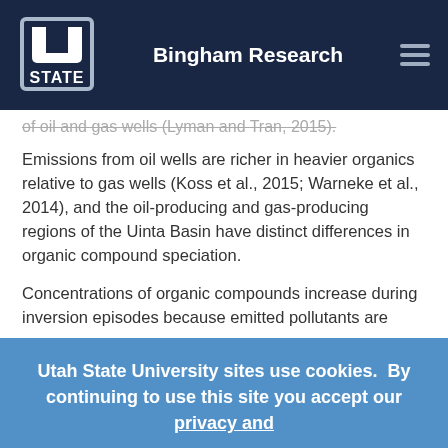Bingham Research
of oil and gas wells (Lyman and Tran, 2015).
Emissions from oil wells are richer in heavier organics relative to gas wells (Koss et al., 2015; Warneke et al., 2014), and the oil-producing and gas-producing regions of the Uinta Basin have distinct differences in organic compound speciation.
Concentrations of organic compounds increase during inversion episodes because emitted pollutants are
Utah State University sites use cookies. By continuing to use this site you accept our privacy and cookie policy.